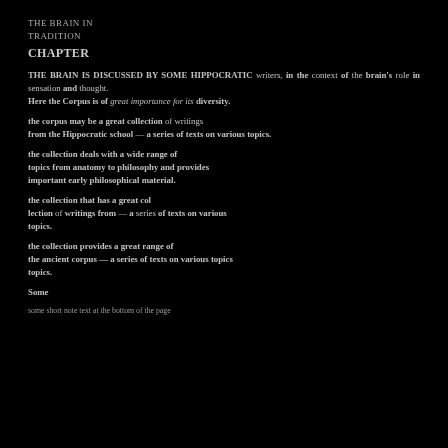THE BRAIN IN TRADITION
CHAPTER
THE BRAIN IS DISCUSSED BY SOME HIPPOCRATIC writers in the context of the brain's role in sensation and thought. Here the Hippocratic corpus is of great importance for its diversity.
THE CORPUS MAY BE A GREAT COLLECTION of writings from Hippocratic school — a series of texts on various topics.
THE COLLECTION DEALS WITH a wide range of topics from anatomy to philosophy and provides important early philosophical material.
SOME
some short note text at the bottom of the page